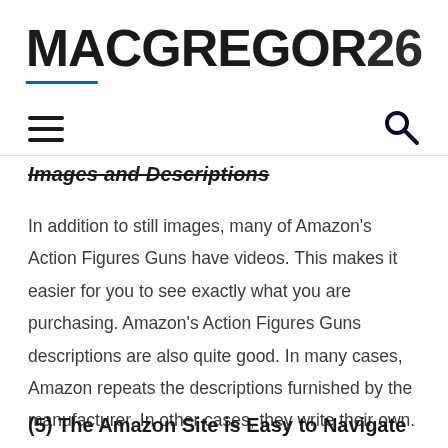MACGREGOR26
Images and Descriptions
In addition to still images, many of Amazon's Action Figures Guns have videos. This makes it easier for you to see exactly what you are purchasing. Amazon's Action Figures Guns descriptions are also quite good. In many cases, Amazon repeats the descriptions furnished by the manufacturer. In other cases, they write their own.
(5) The Amazon Site is Easy to Navigate